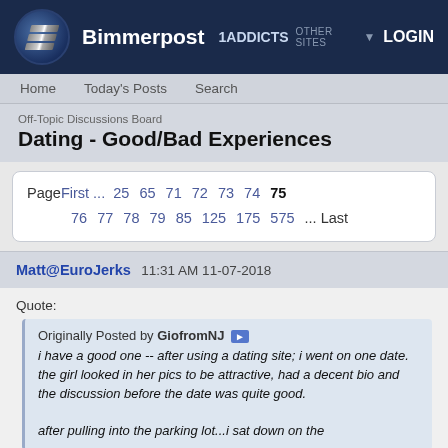Bimmerpost 1ADDICTS OTHER SITES LOGIN
Home  Today's Posts  Search
Off-Topic Discussions Board
Dating - Good/Bad Experiences
PageFirst ... 25 65 71 72 73 74 75 76 77 78 79 85 125 175 575 ... Last
Matt@EuroJerks 11:31 AM 11-07-2018
Quote:
Originally Posted by GiofromNJ
i have a good one -- after using a dating site; i went on one date. the girl looked in her pics to be attractive, had a decent bio and the discussion before the date was quite good.

after pulling into the parking lot...i sat down on the